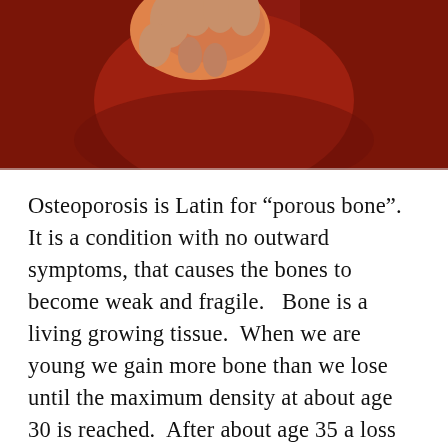[Figure (photo): Close-up photograph of a person wearing a red top, holding what appears to be an orange object. The image is cropped to show hands/upper torso area.]
Osteoporosis is Latin for “porous bone”.  It is a condition with no outward symptoms, that causes the bones to become weak and fragile.   Bone is a living growing tissue.  When we are young we gain more bone than we lose until the maximum density at about age 30 is reached.  After about age 35 a loss begins, Prevention and treatment can involve weight bearing exercises.  Risk factors include being female, being older, family history, low body